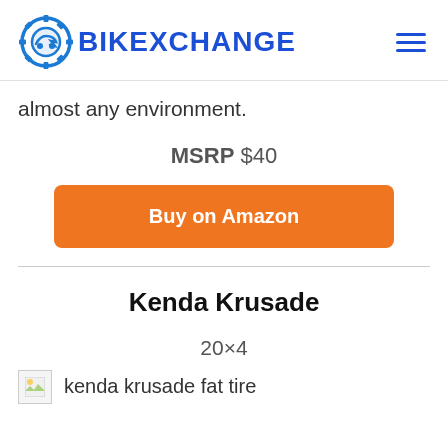BIKEXCHANGE
almost any environment.
MSRP $40
Buy on Amazon
Kenda Krusade
20×4
kenda krusade fat tire